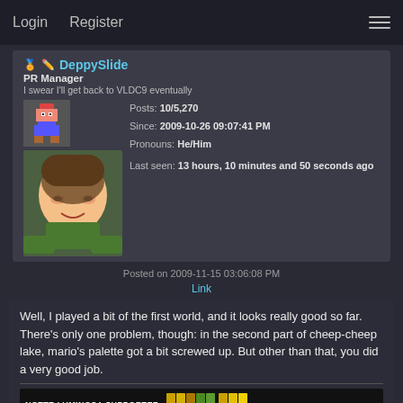Login  Register  ☰
🏅✏ DeppySlide
PR Manager
I swear I'll get back to VLDC9 eventually
Posts: 10/5,270
Since: 2009-10-26 09:07:41 PM
Pronouns: He/Him
Last seen: 13 hours, 10 minutes and 50 seconds ago
Posted on 2009-11-15 03:06:08 PM
Link
Well, I played a bit of the first world, and it looks really good so far. There's only one problem, though: in the second part of cheep-cheep lake, mario's palette got a bit screwed up. But other than that, you did a very good job.
[Figure (screenshot): Screenshot bar showing 'NOTTE LUMINOSA SUPPORTER' text with pixel art blocks in gold/green colors]